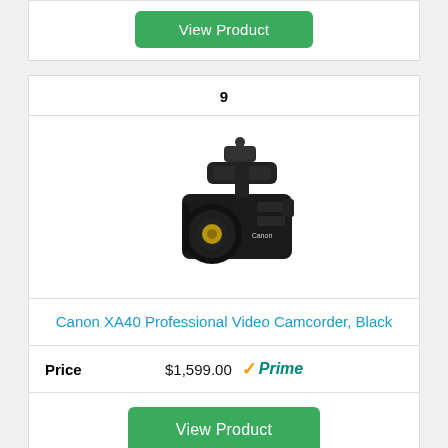[Figure (other): Green 'View Product' button from previous product card (partially visible at top)]
9
[Figure (photo): Canon XA40 Professional Video Camcorder, Black - product photo showing a black professional camcorder with handle mount and large lens]
Canon XA40 Professional Video Camcorder, Black
Price $1,599.00 Prime
[Figure (other): Green 'View Product' button]
[Figure (other): Bottom partial card (next product, white background, partially visible)]